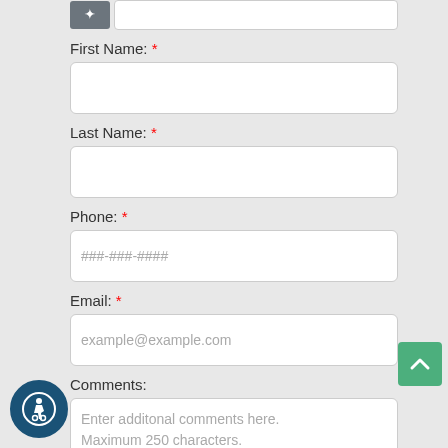[Figure (screenshot): Web form with fields: First Name (required), Last Name (required), Phone (required, placeholder ###-###-####), Email (required, placeholder example@example.com), Comments (placeholder: Enter additonal comments here. Maximum 250 characters.), and ACKNOWLEDGMENT AND CONSENT checkbox. Also shows accessibility icon and scroll-to-top button.]
First Name: *
Last Name: *
Phone: *
###-###-####
Email: *
example@example.com
Comments:
Enter additonal comments here. Maximum 250 characters.
ACKNOWLEDGMENT AND CONSENT: